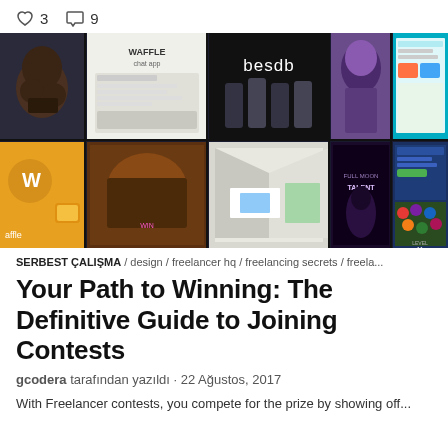♡ 3   ○ 9
[Figure (screenshot): Collage grid of design portfolio/contest entries including app designs, game UI, posters, and web designs on dark background. Visible text includes 'WAFFLE chat app', 'besdb', 'affle', 'LEVEL 11'.]
SERBEST ÇALIŞMA / design / freelancer hq / freelancing secrets / freela...
Your Path to Winning: The Definitive Guide to Joining Contests
gcodera tarafından yazıldı · 22 Ağustos, 2017
With Freelancer contests, you compete for the prize by showing off...